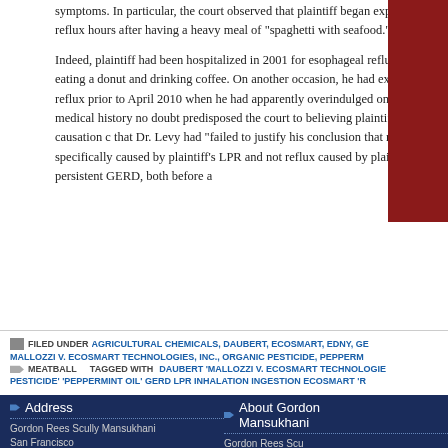symptoms. In particular, the court observed that plaintiff began experiencing reflux hours after having a heavy meal of "spaghetti with seafood."
Indeed, plaintiff had been hospitalized in 2001 for esophageal reflux after eating a donut and drinking coffee. On another occasion, he had experienced reflux prior to April 2010 when he had apparently overindulged on li... medical history no doubt predisposed the court to believing plaintiff's causation c... that Dr. Levy had "failed to justify his conclusion that reflux specifically caused by... plaintiff's LPR and not reflux caused by plaintiff's persistent GERD, both before a...
FILED UNDER AGRICULTURAL CHEMICALS, DAUBERT, ECOSMART, EDNY, GE... MALLOZZI V. ECOSMART TECHNOLOGIES, INC., ORGANIC PESTICIDE, PEPPERM... MEATBALL TAGGED WITH DAUBERT 'MALLOZZI V. ECOSMART TECHNOLOGIE... PESTICIDE' 'PEPPERMINT OIL' GERD LPR INHALATION INGESTION ECOSMART 'R...
Address
Gordon Rees Scully Mansukhani
San Francisco
About Gordon Mansukhani
Gordon Rees Scu...